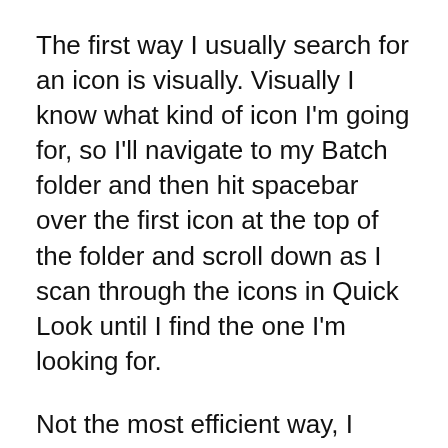The first way I usually search for an icon is visually. Visually I know what kind of icon I'm going for, so I'll navigate to my Batch folder and then hit spacebar over the first icon at the top of the folder and scroll down as I scan through the icons in Quick Look until I find the one I'm looking for.
Not the most efficient way, I know. Since I don't know where an icon usually is in the bunch, the search and find process can be really short or long based on the icon's position.
The second way I search for an icon is by name. Usually if I've used the icon enough